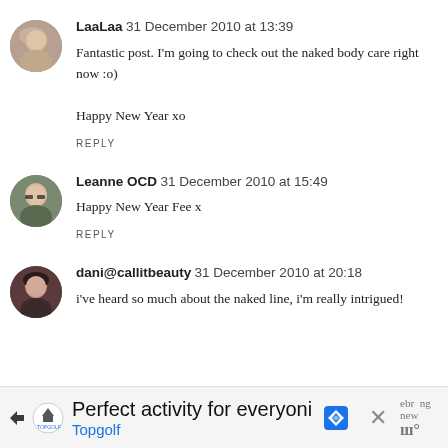[Figure (photo): Avatar photo of LaaLaa, a woman with light hair]
LaaLaa  31 December 2010 at 13:39
Fantastic post. I'm going to check out the naked body care right now :o)

Happy New Year xo

REPLY
[Figure (photo): Avatar photo of Leanne OCD, a woman with glasses]
Leanne OCD  31 December 2010 at 15:49
Happy New Year Fee x

REPLY
[Figure (photo): Avatar photo of dani@callitbeauty, a woman with dark hair]
dani@callitbeauty  31 December 2010 at 20:18
i've heard so much about the naked line, i'm really intrigued!
[Figure (screenshot): Advertisement banner for Topgolf: 'Perfect activity for everyone']